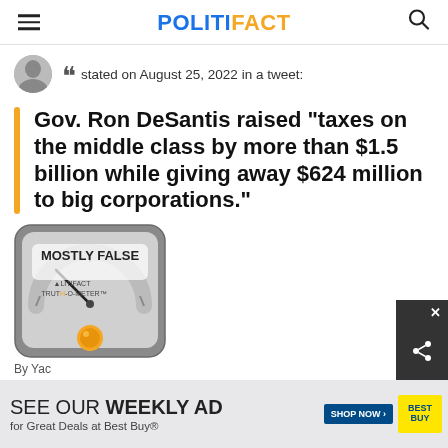POLITIFACT
stated on August 25, 2022 in a tweet:
Gov. Ron DeSantis raised "taxes on the middle class by more than $1.5 billion while giving away $624 million to big corporations."
[Figure (other): PolitiFact Truth-O-Meter gauge showing MOSTLY FALSE verdict with orange indicator]
SEE OUR WEEKLY AD for Great Deals at Best Buy®